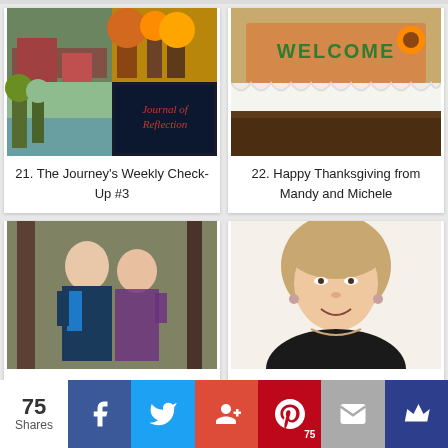[Figure (photo): Blog post card #21: collage of autumn nature photos with 'Journal of Reflection' text overlay]
21. The Journey's Weekly Check-Up #3
[Figure (photo): Blog post card #22: Welcome sign on wood with lace decoration]
22. Happy Thanksgiving from Mandy and Michele
[Figure (photo): Blog post card #23: Couple posing outdoors in autumn]
23. On Unconfessed Sin - Mandy and Michele
[Figure (photo): Blog post card #24: Portrait of a smiling blonde woman]
24. The Cracks in My Soul - Walking Well With God
75 Shares | Facebook | Twitter | Google+ | Pinterest 75 | Email | Crown